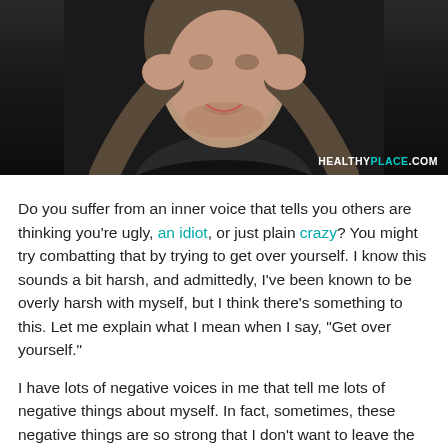[Figure (photo): Photo of a man smiling with hands raised near his head, wearing a dark shirt against a dark background. Watermark reads HEALTHYPLACE.COM in bottom right corner.]
Do you suffer from an inner voice that tells you others are thinking you're ugly, an idiot, or just plain crazy? You might try combatting that by trying to get over yourself. I know this sounds a bit harsh, and admittedly, I've been known to be overly harsh with myself, but I think there's something to this. Let me explain what I mean when I say, "Get over yourself."
I have lots of negative voices in me that tell me lots of negative things about myself. In fact, sometimes, these negative things are so strong that I don't want to leave the house. "Oh my god, my hair!" "I can't stand my face!" "I'm too fat to be allowed to live!" And the voices continue. It's very unpleasant, to say the least.